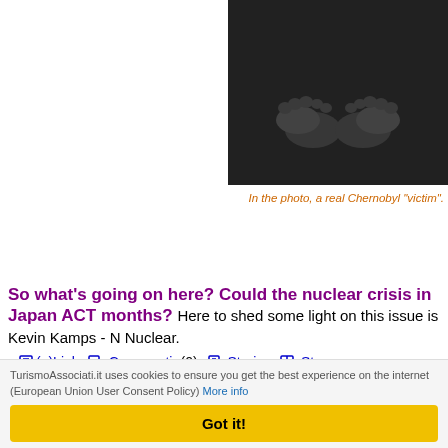[Figure (photo): Black and white photo of baby/child feet, described as a real Chernobyl victim]
In the photo, a real Chernobyl "victim".
So what's going on here? Could the nuclear crisis in Japan ACT months? Here to shed some light on this issue is Kevin Kamps - N Nuclear.
Despite shifting into higher gear within the consumer's green conso the gas pump via a fuel-thirsty 100-year-old invention: the internal By Admin (from 27/07/2011 @ 14:00:23, in en - Video Alert, read
However, researchers at Michigan State University have built a requires no transmission, crankshaft, pistons, valves, fuel comp Their so-called Wave Disk Generator could greatly improve the
TurismoAssociati.it uses cookies to ensure you get the best experience on the internet (European Union User Consent Policy) More info
Got it!